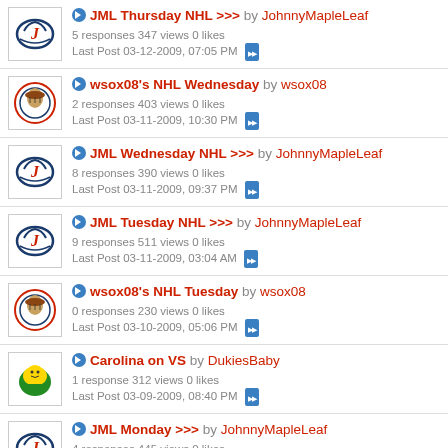JML Thursday NHL >>> by JohnnyMapleLeaf
5 responses 347 views 0 likes
Last Post 03-12-2009, 07:05 PM
wsox08's NHL Wednesday by wsox08
2 responses 403 views 0 likes
Last Post 03-11-2009, 10:30 PM
JML Wednesday NHL >>> by JohnnyMapleLeaf
8 responses 390 views 0 likes
Last Post 03-11-2009, 09:37 PM
JML Tuesday NHL >>> by JohnnyMapleLeaf
9 responses 511 views 0 likes
Last Post 03-11-2009, 03:04 AM
wsox08's NHL Tuesday by wsox08
0 responses 230 views 0 likes
Last Post 03-10-2009, 05:06 PM
Carolina on VS by DukiesBaby
1 response 312 views 0 likes
Last Post 03-09-2009, 08:40 PM
JML Monday >>> by JohnnyMapleLeaf
4 responses 445 views 0 likes